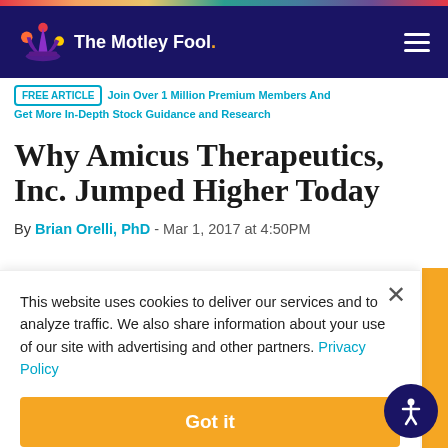The Motley Fool
FREE ARTICLE  Join Over 1 Million Premium Members And Get More In-Depth Stock Guidance and Research
Why Amicus Therapeutics, Inc. Jumped Higher Today
By Brian Orelli, PhD - Mar 1, 2017 at 4:50PM
This website uses cookies to deliver our services and to analyze traffic. We also share information about your use of our site with advertising and other partners. Privacy Policy
Got it
Cookie Settings